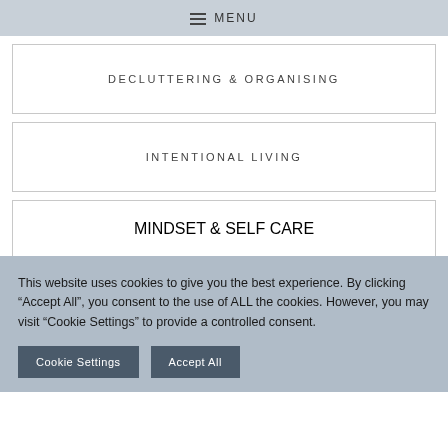MENU
DECLUTTERING & ORGANISING
INTENTIONAL LIVING
MINDSET & SELF CARE
This website uses cookies to give you the best experience. By clicking “Accept All”, you consent to the use of ALL the cookies. However, you may visit "Cookie Settings" to provide a controlled consent.
Cookie Settings
Accept All